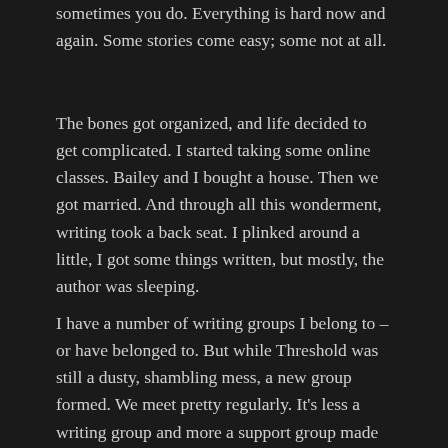sometimes you do. Everything is hard now and again. Some stories come easy; some not at all.
The bones got organized, and life decided to get complicated. I started taking some online classes. Bailey and I bought a house. Then we got married. And through all this wonderment, writing took a back seat. I plinked around a little, I got some things written, but mostly, the author was sleeping.
I have a number of writing groups I belong to – or have belonged to. But while Threshold was still a dusty, shambling mess, a new group formed. We meet pretty regularly. It's less a writing group and more a support group made of writers. What's the difference? No competition for starters. We share in each other's successes and frustrations. We don't judge. We are there for each other. I've had good groups before, but this is an intimate group of honest friends – they're helpful and even their physical presence and the sound of their typing was its own security. Threshold came together under this group's support.